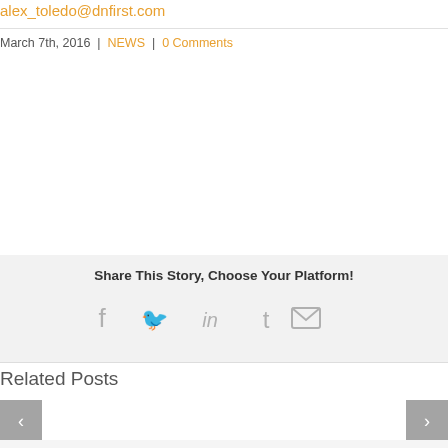alex_toledo@dnfirst.com
March 7th, 2016 | NEWS | 0 Comments
[Figure (illustration): Hexagonal grid background pattern, light gray on white, top section]
Share This Story, Choose Your Platform!
Social share icons: Facebook, Twitter, LinkedIn, Tumblr, Email
[Figure (illustration): Hexagonal grid background pattern, light gray on white, middle section]
Related Posts
[Figure (illustration): Hexagonal grid background pattern for related posts area with navigation arrows]
< (previous arrow) > (next arrow)